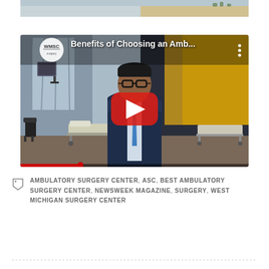[Figure (photo): Partial top image, appears to be an outdoor or aerial view with light blue and tan colors]
[Figure (screenshot): YouTube video thumbnail showing a man in a dark suit and blue tie standing in a medical room. Video title reads 'Benefits of Choosing an Amb...' with WMSC logo in top left and YouTube play button in center.]
AMBULATORY SURGERY CENTER, ASC, BEST AMBULATORY SURGERY CENTER, NEWSWEEK MAGAZINE, SURGERY, WEST MICHIGAN SURGERY CENTER